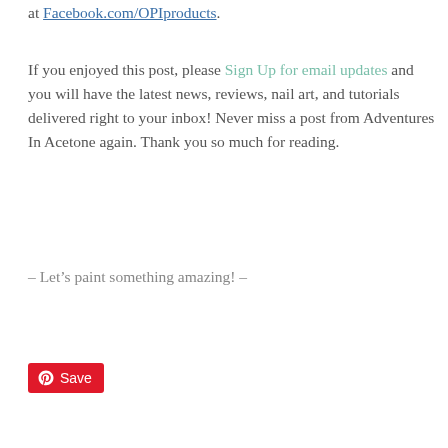at Facebook.com/OPIproducts.
If you enjoyed this post, please Sign Up for email updates and you will have the latest news, reviews, nail art, and tutorials delivered right to your inbox! Never miss a post from Adventures In Acetone again. Thank you so much for reading.
– Let's paint something amazing! –
[Figure (other): Pinterest Save button with Pinterest logo icon]